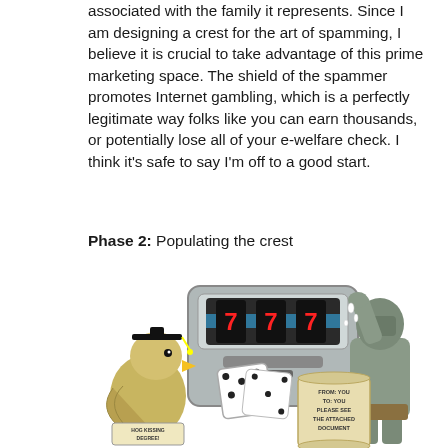associated with the family it represents. Since I am designing a crest for the art of spamming, I believe it is crucial to take advantage of this prime marketing space. The shield of the spammer promotes Internet gambling, which is a perfectly legitimate way folks like you can earn thousands, or potentially lose all of your e-welfare check. I think it's safe to say I'm off to a good start.
Phase 2: Populating the crest
[Figure (illustration): Humorous illustration showing a cartoon eagle wearing a graduation cap and holding a 'HOG KISSING DEGREE!' diploma, a slot machine showing three 7s, dice, a medieval knight in armor pouring pills/drops, and a scroll reading 'FROM: YOU TO: YOU PLEASE SEE THE ATTACHED DOCUMENT']